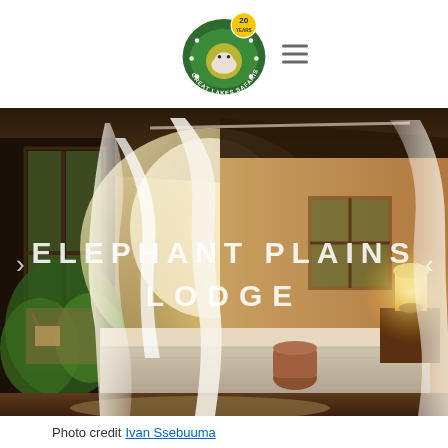[Figure (logo): Great Lakes Safaris logo — circular green badge with hippo silhouette and '20 YEARS' yellow badge, with hamburger menu icon to the right]
[Figure (photo): Interior bedroom photo of Elephant Plains Lodge showing white mosquito net canopy over bed, wooden ceiling, glass doors opening to veranda with green vegetation, warm lamp light on nightstand]
Photo credit Ivan Ssebuuma